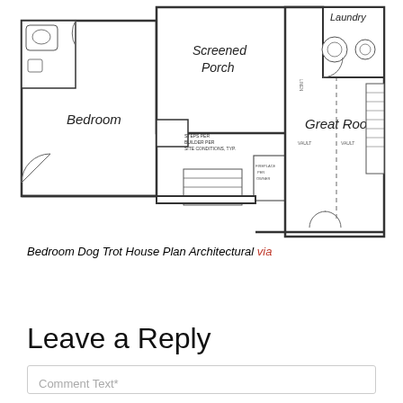[Figure (schematic): Architectural floor plan of a Dog Trot House showing Bedroom on left, Screened Porch in center-top, Great Room on right, Laundry top-right, with stairs, fireplace, and various room features labeled.]
Bedroom Dog Trot House Plan Architectural via
Leave a Reply
Comment Text*